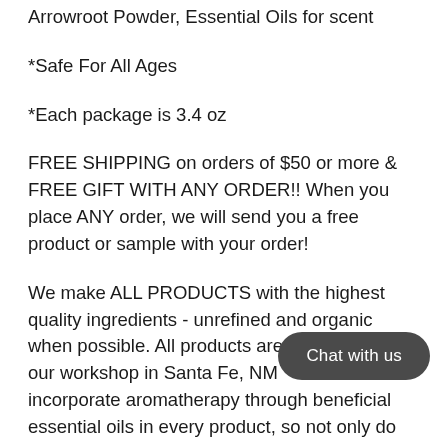Arrowroot Powder, Essential Oils for scent
*Safe For All Ages
*Each package is 3.4 oz
FREE SHIPPING on orders of $50 or more & FREE GIFT WITH ANY ORDER!! When you place ANY order, we will send you a free product or sample with your order!
We make ALL PRODUCTS with the highest quality ingredients - unrefined and organic when possible. All products are made in our workshop in Santa Fe, NM and incorporate aromatherapy through beneficial essential oils in every product, so not only do